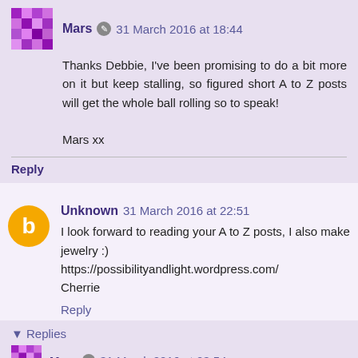Mars · 31 March 2016 at 18:44
Thanks Debbie, I've been promising to do a bit more on it but keep stalling, so figured short A to Z posts will get the whole ball rolling so to speak!

Mars xx
Reply
Unknown  31 March 2016 at 22:51
I look forward to reading your A to Z posts, I also make jewelry :)
https://possibilityandlight.wordpress.com/
Cherrie
Reply
▾ Replies
Mars · 31 March 2016 at 23:54